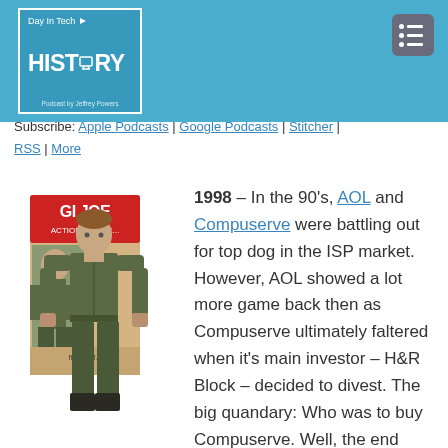[Figure (logo): Day in Tech History podcast logo — blue square with white text 'Day In Tech' on top, large 'HISTORY' below with monitor icon, 'Podcast by Jeffrey Powers' at bottom]
[Figure (other): Menu icon — dark rounded square with dot-and-line hamburger menu symbol]
Subscribe: Apple Podcasts | Google Podcasts | Stitcher | RSS | More
[Figure (photo): G.I. Joe Action Soldier action figure in olive military uniform standing in front of its original box artwork]
1998 – In the 90's, AOL and Compuserve were battling out for top dog in the ISP market. However, AOL showed a lot more game back then as Compuserve ultimately faltered when it's main investor – H&R Block – decided to divest. The big quandary: Who was to buy Compuserve. Well, the end